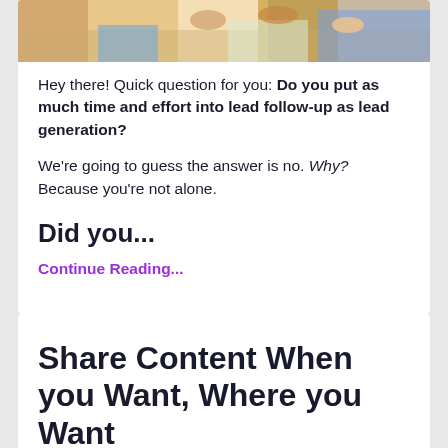[Figure (photo): Cropped photo of people, showing hands and upper bodies, colorful clothing]
Hey there! Quick question for you: Do you put as much time and effort into lead follow-up as lead generation?
We're going to guess the answer is no. Why? Because you're not alone.
Did you...
Continue Reading...
Share Content When you Want, Where you Want